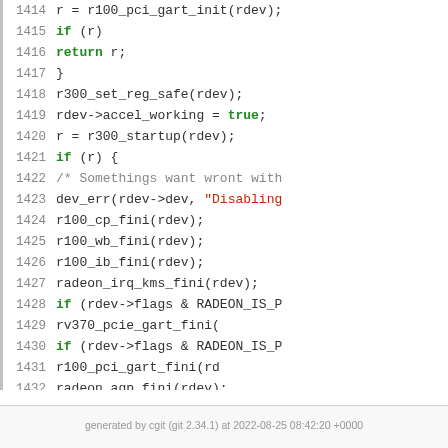[Figure (screenshot): Source code viewer showing C code lines 1414-1436 with syntax highlighting. Line numbers in grey on left, keywords in green/blue, string in red, comment in grey.]
generated by cgit (git 2.34.1) at 2022-08-25 08:42:20 +0000